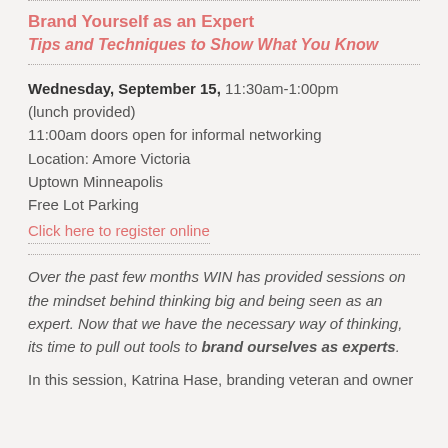Brand Yourself as an Expert
Tips and Techniques to Show What You Know
Wednesday, September 15, 11:30am-1:00pm (lunch provided)
11:00am doors open for informal networking
Location: Amore Victoria
Uptown Minneapolis
Free Lot Parking
Click here to register online
Over the past few months WIN has provided sessions on the mindset behind thinking big and being seen as an expert. Now that we have the necessary way of thinking, its time to pull out tools to brand ourselves as experts.
In this session, Katrina Hase, branding veteran and owner